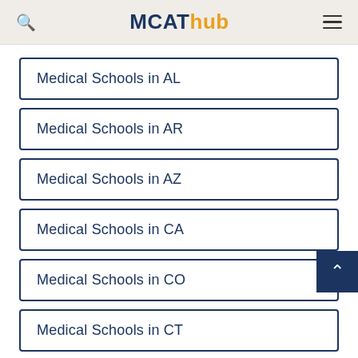MCAThub
Medical Schools in AL
Medical Schools in AR
Medical Schools in AZ
Medical Schools in CA
Medical Schools in CO
Medical Schools in CT